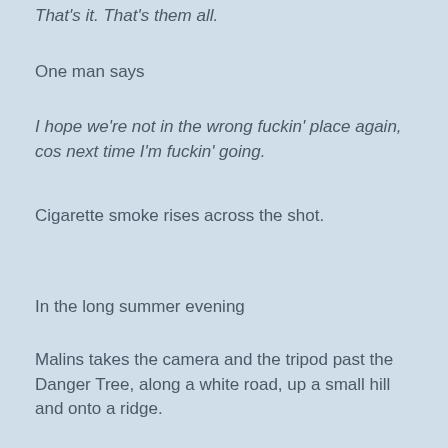That's it. That's them all.
One man says
I hope we're not in the wrong fuckin' place again, cos next time I'm fuckin' going.
Cigarette smoke rises across the shot.
In the long summer evening
Malins takes the camera and the tripod past the Danger Tree, along a white road, up a small hill and onto a ridge.